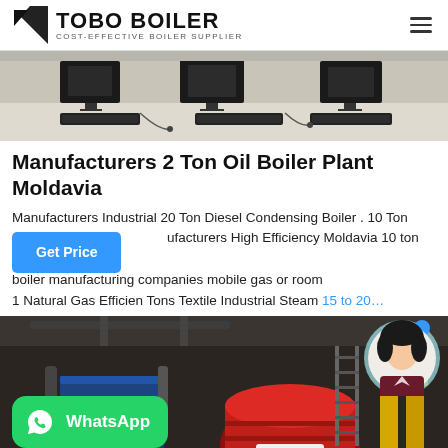[Figure (logo): TOBO BOILER logo with geometric icon and tagline COST-EFFECTIVE BOILER SUPPLIER]
[Figure (photo): Office/control room with computers and keyboards on white desks]
Manufacturers 2 Ton Oil Boiler Plant Moldavia
Manufacturers Industrial 20 Ton Diesel Condensing Boiler . 10 Ton ufacturers High Efficiency Moldavia 10 ton mobile boiler manufacturing companies mobile gas or room 1 Natural Gas Efficien Tons Textile Industrial Steam 15 to 20…
[Figure (photo): Industrial boiler plant with large red and blue boilers, yellow pipes, and machinery]
[Figure (infographic): WhatsApp contact button with green background and WhatsApp logo]